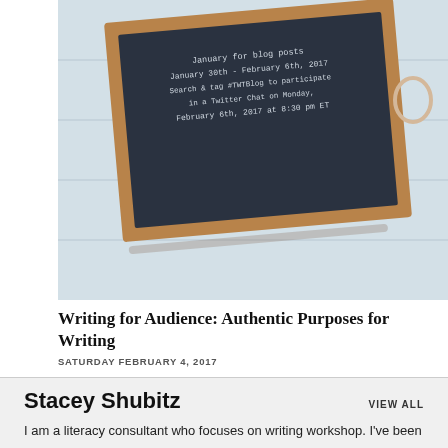[Figure (photo): Photo of a chalkboard/slate on a white wooden surface with chalk writing about writing for blog posts, February 30th - February 6th 2017, hashtag #TWTBlog, Twitter chat on Monday February 6th 2017 at 8:30 pm ET]
Writing for Audience: Authentic Purposes for Writing
SATURDAY FEBRUARY 4, 2017
Stacey Shubitz
I am a literacy consultant who focuses on writing workshop. I've been working with K-6 teachers and students since 2009. Prior to that, I was a fourth and fifth-grade teacher in New York City and Rhode Island.
I'm the author of Craft Moves (Stenhouse Publishers